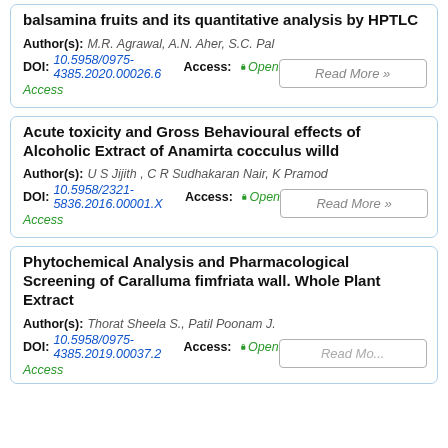balsamina fruits and its quantitative analysis by HPTLC
Author(s): M.R. Agrawal, A.N. Aher, S.C. Pal
DOI: 10.5958/0975-4385.2020.00026.6  Access: Open Access
Acute toxicity and Gross Behavioural effects of Alcoholic Extract of Anamirta cocculus willd
Author(s): U S Jijith , C R Sudhakaran Nair, K Pramod
DOI: 10.5958/2321-5836.2016.00001.X  Access: Open Access
Phytochemical Analysis and Pharmacological Screening of Caralluma fimfriata wall. Whole Plant Extract
Author(s): Thorat Sheela S., Patil Poonam J.
DOI: 10.5958/0975-4385.2019.00037.2  Access: Open Access